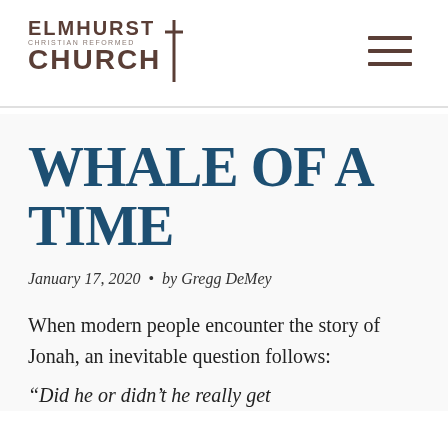ELMHURST CHRISTIAN REFORMED CHURCH
WHALE OF A TIME
January 17, 2020 • by Gregg DeMey
When modern people encounter the story of Jonah, an inevitable question follows:
“Did he or didn’t he really get